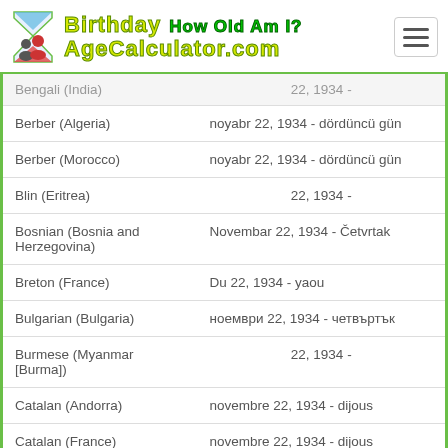Birthday How Old Am I? AgeCalculator.com
| Language | Date |
| --- | --- |
| Bengali (India) | 22, 1934 - |
| Berber (Algeria) | noyabr 22, 1934 - dördüncü gün |
| Berber (Morocco) | noyabr 22, 1934 - dördüncü gün |
| Blin (Eritrea) | 22, 1934 - |
| Bosnian (Bosnia and Herzegovina) | Novembar 22, 1934 - Četvrtak |
| Breton (France) | Du 22, 1934 - yaou |
| Bulgarian (Bulgaria) | ноември 22, 1934 - четвъртък |
| Burmese (Myanmar [Burma]) | 22, 1934 - |
| Catalan (Andorra) | novembre 22, 1934 - dijous |
| Catalan (France) | novembre 22, 1934 - dijous |